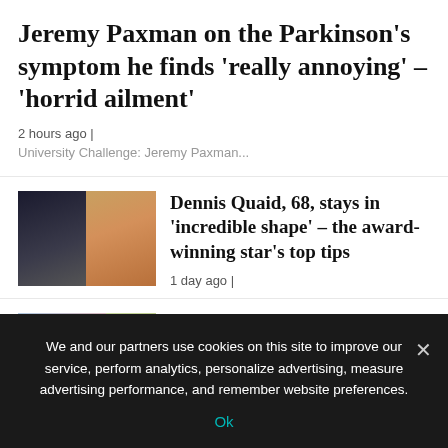Jeremy Paxman on the Parkinson’s symptom he finds ‘really annoying’ – ‘horrid ailment’
2 hours ago |
University Challenge: Jeremy Paxman...
[Figure (photo): Two men side by side, one in dark jacket, one in casual shirt, against autumn background]
Dennis Quaid, 68, stays in ‘incredible shape’ – the award-winning star’s top tips
1 day ago |
[Figure (photo): Woman holding red berries with medical cholesterol illustration]
High cholesterol: The small red fruit ‘excellent’ at lowering levels – study
2 days ago |
We and our partners use cookies on this site to improve our service, perform analytics, personalize advertising, measure advertising performance, and remember website preferences.
Ok